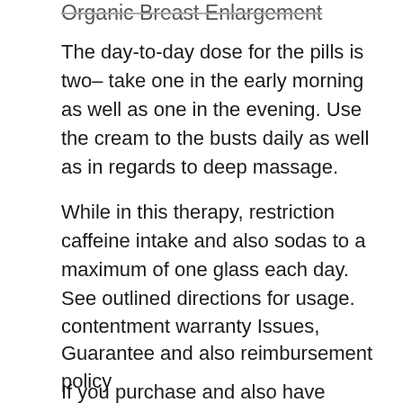Organic Breast Enlargement
The day-to-day dose for the pills is two– take one in the early morning as well as one in the evening. Use the cream to the busts daily as well as in regards to deep massage.
While in this therapy, restriction caffeine intake and also sodas to a maximum of one glass each day. See outlined directions for usage.
contentment warranty Issues, Guarantee and also reimbursement policy
If you purchase and also have complaints, you can ask for a refund. This must be against any kind of unused and unopened